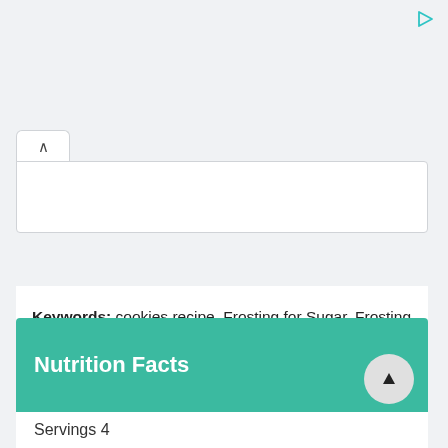Keywords: cookies recipe, Frosting for Sugar, Frosting for Sugar Cookies, Frosting for Sugar Cookies Recipe, Oatmeal Cookies, peanut butter cookies, peanut butter flourless cookies, Sugar Cookies
Nutrition Facts
Servings 4